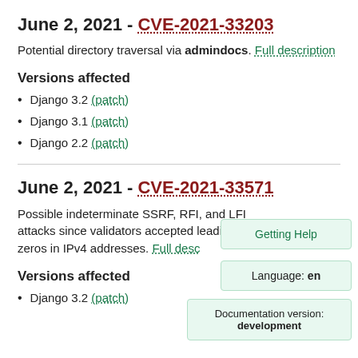June 2, 2021 - CVE-2021-33203
Potential directory traversal via admindocs. Full description
Versions affected
Django 3.2 (patch)
Django 3.1 (patch)
Django 2.2 (patch)
June 2, 2021 - CVE-2021-33571
Possible indeterminate SSRF, RFI, and LFI attacks since validators accepted leading zeros in IPv4 addresses. Full desc
Versions affected
Django 3.2 (patch)
Getting Help
Language: en
Documentation version: development